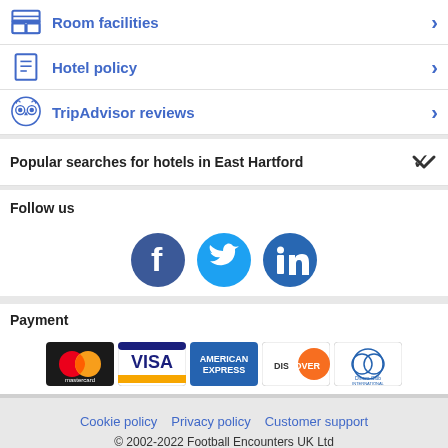Room facilities
Hotel policy
TripAdvisor reviews
Popular searches for hotels in East Hartford
Follow us
[Figure (illustration): Facebook, Twitter, LinkedIn social media icons]
Payment
[Figure (illustration): Payment card logos: Mastercard, Visa, American Express, Discover, Diners Club International]
Cookie policy   Privacy policy   Customer support
© 2002-2022 Football Encounters UK Ltd